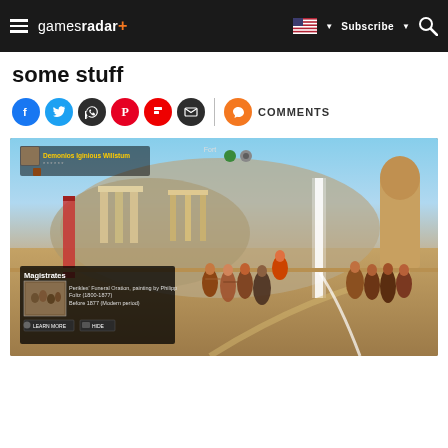gamesradar+ — Subscribe — Search
some stuff
[Figure (other): Social media share buttons: Facebook, Twitter, WhatsApp, Pinterest, Flipboard, Email, and Comments]
[Figure (screenshot): Screenshot from Assassin's Creed Odyssey showing ancient Greek setting with characters standing in a plaza, classical architecture and statues in background. An in-game discovery popup shows 'Magistrates' with a painting reference: 'Perikles' Funeral Oration, painting by Philipp Foltz (1800-1877)' and 'Before 1877 (Modern period)' with LEARN MORE and HIDE buttons.]